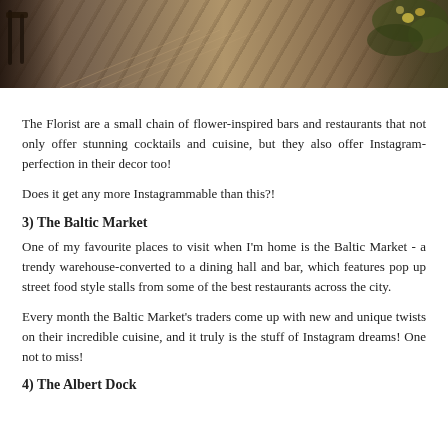[Figure (photo): Top portion of a restaurant or bar interior showing herringbone brick/tile floor, dark chairs, and greenery/flowers on the right side, viewed from above at an angle.]
The Florist are a small chain of flower-inspired bars and restaurants that not only offer stunning cocktails and cuisine, but they also offer Instagram-perfection in their decor too!
Does it get any more Instagrammable than this?!
3) The Baltic Market
One of my favourite places to visit when I'm home is the Baltic Market - a trendy warehouse-converted to a dining hall and bar, which features pop up street food style stalls from some of the best restaurants across the city.
Every month the Baltic Market's traders come up with new and unique twists on their incredible cuisine, and it truly is the stuff of Instagram dreams! One not to miss!
4) The Albert Dock